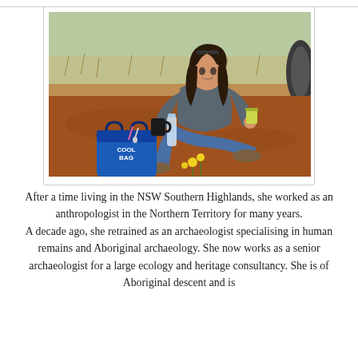[Figure (photo): A woman with dark hair and sunglasses on her head sits on red outback soil, holding a yellow-green drink. She wears a grey long-sleeve top and blue jeans with hiking boots. Beside her is a blue cool bag labelled 'COOL BAG', a water bottle, and a black mug. Yellow wildflowers are in the foreground. The background shows dry grassland scrub under a bright sky.]
After a time living in the NSW Southern Highlands, she worked as an anthropologist in the Northern Territory for many years.
A decade ago, she retrained as an archaeologist specialising in human remains and Aboriginal archaeology. She now works as a senior archaeologist for a large ecology and heritage consultancy. She is of Aboriginal descent and is